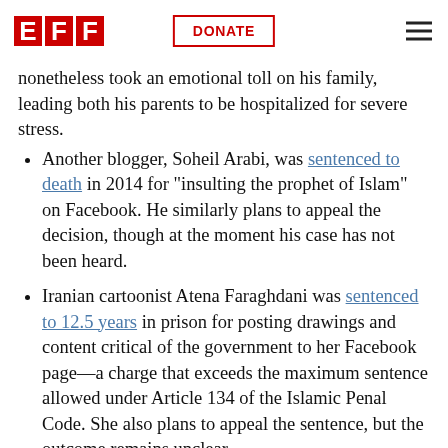EFF | DONATE
nonetheless took an emotional toll on his family, leading both his parents to be hospitalized for severe stress.
Another blogger, Soheil Arabi, was sentenced to death in 2014 for "insulting the prophet of Islam" on Facebook. He similarly plans to appeal the decision, though at the moment his case has not been heard.
Iranian cartoonist Atena Faraghdani was sentenced to 12.5 years in prison for posting drawings and content critical of the government to her Facebook page—a charge that exceeds the maximum sentence allowed under Article 134 of the Islamic Penal Code. She also plans to appeal the sentence, but the outcome remains unclear.
Children's rights and civil activist Atena